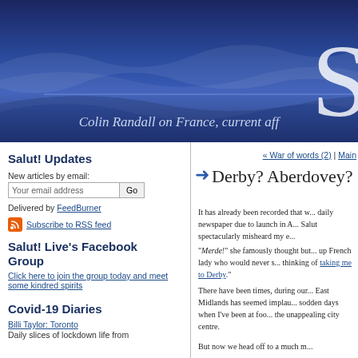[Figure (other): Blue gradient header banner with wave pattern, large letter 'S' on right side]
Colin Randall on France, current aff
Salut! Updates
New articles by email:
Delivered by FeedBurner
Subscribe to RSS feed
Salut! Live's Facebook Group
Click here to join the group today and meet some kindred spirits
Covid-19 Diaries
Billi Taylor: Toronto
Daily slices of lockdown life from
« War of words (2) | Main
Derby? Aberdovey?
It has already been recorded that w... daily newspaper due to launch in A... Salut spectacularly misheard my e...
"Merde!" she famously thought but... up French lady who would never s... thinking of taking me to Derby."
There have been times, during our... East Midlands has seemed implau... sodden days when I've been at foo... the unappealing city centre.
But now we head off to a much m...